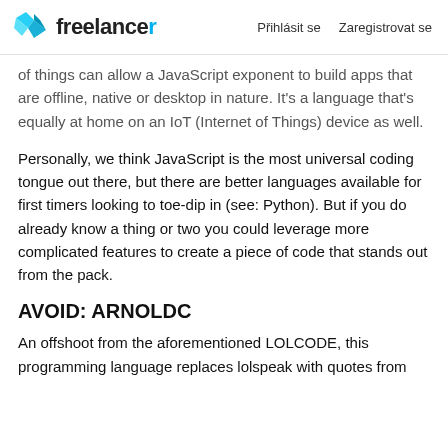Freelancer | Přihlásit se  Zaregistrovat se
of things can allow a JavaScript exponent to build apps that are offline, native or desktop in nature. It's a language that's equally at home on an IoT (Internet of Things) device as well.
Personally, we think JavaScript is the most universal coding tongue out there, but there are better languages available for first timers looking to toe-dip in (see: Python). But if you do already know a thing or two you could leverage more complicated features to create a piece of code that stands out from the pack.
AVOID: ARNOLDC
An offshoot from the aforementioned LOLCODE, this programming language replaces lolspeak with quotes from